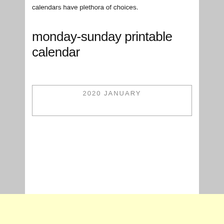calendars have plethora of choices.
monday-sunday printable calendar
[Figure (other): Partial view of a 2020 January printable calendar with a bordered box showing the header '2020 JANUARY']